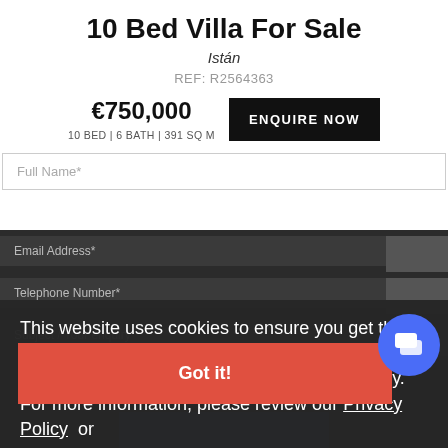10 Bed Villa For Sale
Istán
REF: R2564363
€750,000
10 BED | 6 BATH | 391 SQ M
ENQUIRE NOW
Full Name*
Email Address*
This website uses cookies to ensure you get the best experience on our website. We also ensure your personal data is stored safely and securely. For more information, please review our Privacy Policy or Terms & Conditions
Telephone Number*
Got it!